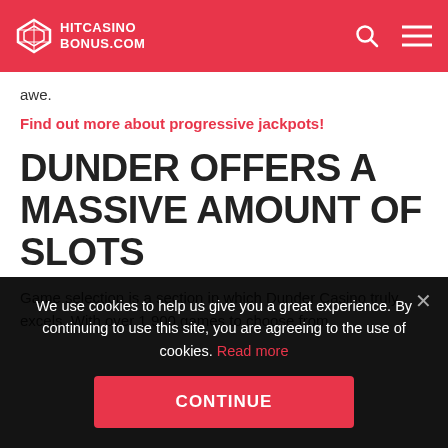HITCASINOBONUS.COM
awe.
Find out more about progressive jackpots!
DUNDER OFFERS A MASSIVE AMOUNT OF SLOTS
Game selection is a section in which Dunder Casino truly excels. With over 1,900 games to choose from
We use cookies to help us give you a great experience. By continuing to use this site, you are agreeing to the use of cookies. Read more
CONTINUE